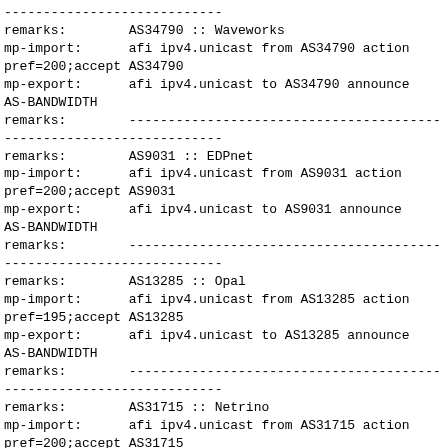----------------------------
remarks:        AS34790 :: Waveworks
mp-import:      afi ipv4.unicast from AS34790 action pref=200;accept AS34790
mp-export:      afi ipv4.unicast to AS34790 announce AS-BANDWIDTH
remarks:        ----------------------------------------
----------------------------
remarks:        AS9031 :: EDPnet
mp-import:      afi ipv4.unicast from AS9031 action pref=200;accept AS9031
mp-export:      afi ipv4.unicast to AS9031 announce AS-BANDWIDTH
remarks:        ----------------------------------------
----------------------------
remarks:        AS13285 :: Opal
mp-import:      afi ipv4.unicast from AS13285 action pref=195;accept AS13285
mp-export:      afi ipv4.unicast to AS13285 announce AS-BANDWIDTH
remarks:        ----------------------------------------
----------------------------
remarks:        AS31715 :: Netrino
mp-import:      afi ipv4.unicast from AS31715 action pref=200;accept AS31715
mp-export:      afi ipv4.unicast to AS31715 announce AS-BANDWIDTH
remarks:        ----------------------------------------